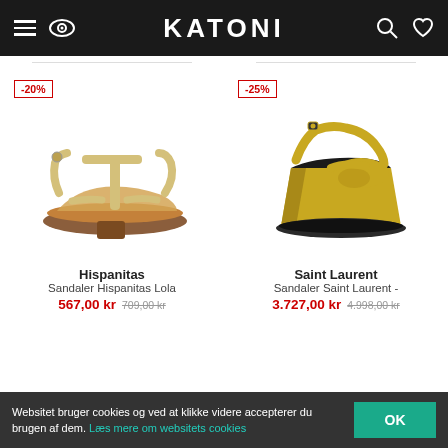KATONI
[Figure (photo): Hispanitas gold flat sandal with T-strap design]
[Figure (photo): Saint Laurent gold wedge sandal with ankle strap and knotted toe]
Hispanitas
Sandaler Hispanitas Lola
567,00 kr  709,00 kr
Saint Laurent
Sandaler Saint Laurent -
3.727,00 kr  4.998,00 kr
Websitet bruger cookies og ved at klikke videre accepterer du brugen af dem. Læs mere om websitets cookies